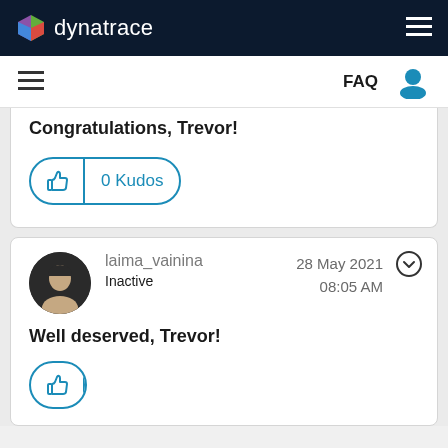dynatrace
Congratulations, Trevor!
[Figure (other): 0 Kudos button with thumbs up icon in blue outline pill shape]
laima_vainina
Inactive
28 May 2021
08:05 AM
Well deserved, Trevor!
[Figure (other): Kudos button partially visible at bottom of page]